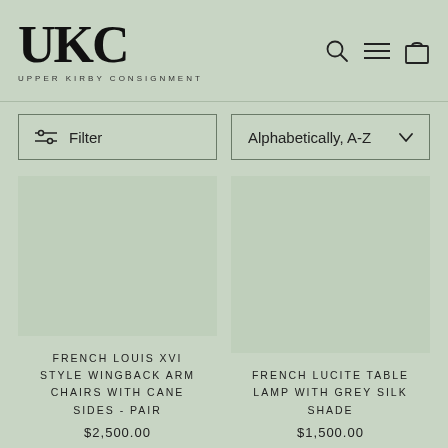UKC — UPPER KIRBY CONSIGNMENT
Filter | Alphabetically, A-Z
FRENCH LOUIS XVI STYLE WINGBACK ARM CHAIRS WITH CANE SIDES - PAIR
$2,500.00
FRENCH LUCITE TABLE LAMP WITH GREY SILK SHADE
$1,500.00